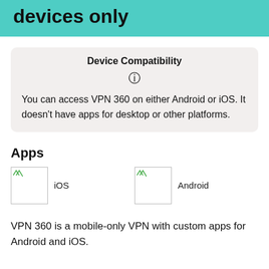devices only
Device Compatibility
You can access VPN 360 on either Android or iOS. It doesn't have apps for desktop or other platforms.
Apps
[Figure (illustration): iOS app icon placeholder]
iOS
[Figure (illustration): Android app icon placeholder]
Android
VPN 360 is a mobile-only VPN with custom apps for Android and iOS.